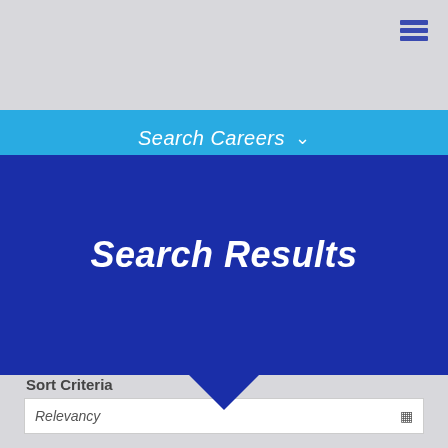[Figure (screenshot): Hamburger menu icon in top right corner]
Search Careers ∨
Search Results
Sort Criteria
Relevancy